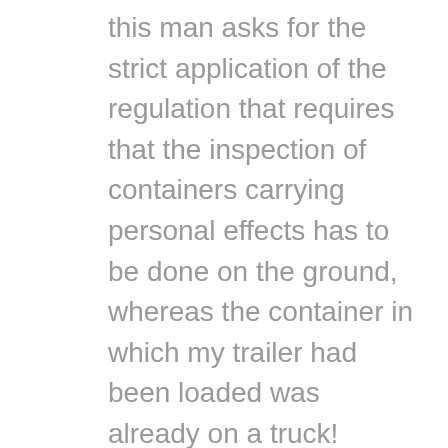this man asks for the strict application of the regulation that requires that the inspection of containers carrying personal effects has to be done on the ground, whereas the container in which my trailer had been loaded was already on a truck! Return to the starting point to get the service of the crane and a new appointment for verification, again five days of waiting. During the bus transportation, the inspector remembered that he had previously verified my glider and he signed the papers without even opening the door. At that point I asked to open the door and extract the trailer and